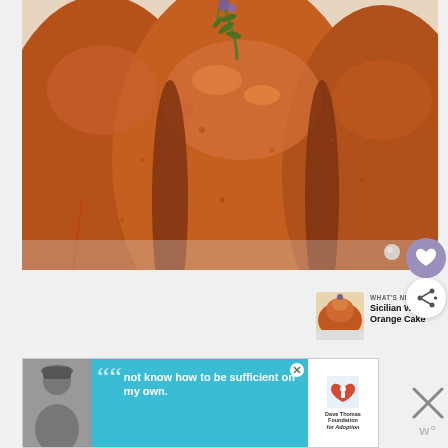[Figure (photo): Close-up photo of a glazed bundt cake with golden-brown caramelized surface and a sprig of rosemary on top, placed on a white wire cooling rack]
[Figure (screenshot): What's Next card showing a thumbnail of Sicilian Whole Orange Cake with label 'WHAT'S NEXT' and arrow]
WHAT'S NEXT →
Sicilian Whole Orange Cake
[Figure (screenshot): Advertisement banner featuring a person in winter clothing with quote 'not know how to be sufficient on my own.' and Dave Thomas Foundation for Adoption logo]